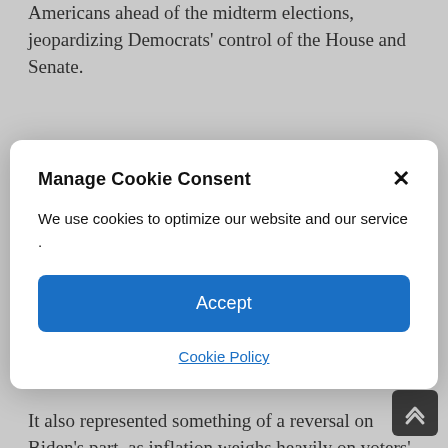Americans ahead of the midterm elections, jeopardizing Democrats' control of the House and Senate.
Biden is running out of options on his own. Its past attempts – releases of oil from the strategic
renominated in November by Biden to lead the central bank and took place two weeks after his confirmation. for a second term by the Senate.
It also represented something of a reversal on Biden's part, as inflation weighs heavily on voters'
Manage Cookie Consent
We use cookies to optimize our website and our service .
Accept
Cookie Policy